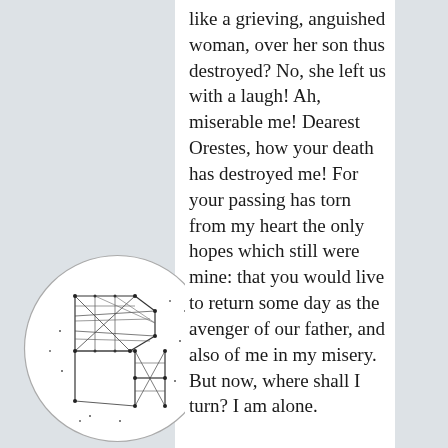like a grieving, anguished woman, over her son thus destroyed? No, she left us with a laugh! Ah, miserable me! Dearest Orestes, how your death has destroyed me! For your passing has torn from my heart the only hopes which still were mine: that you would live to return some day as the avenger of our father, and also of me in my misery. But now, where shall I turn? I am alone.
[Figure (logo): Circular logo with a geometric wireframe letter 'P' made of connected dots and lines, forming a low-poly/constellation style illustration inside a circle]